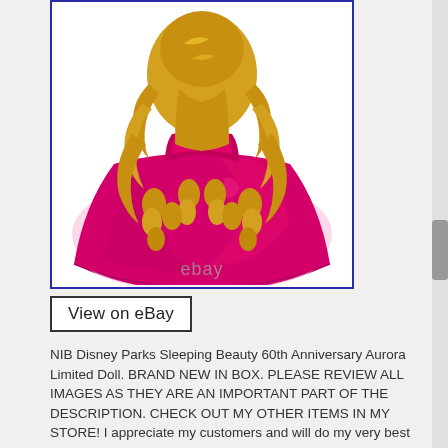[Figure (photo): Rear view of a Disney Parks Sleeping Beauty Aurora doll with long curly golden hair and a bright pink/magenta ball gown. The photo has a white background and a blue border. An eBay watermark appears at the bottom center of the image.]
View on eBay
NIB Disney Parks Sleeping Beauty 60th Anniversary Aurora Limited Doll. BRAND NEW IN BOX. PLEASE REVIEW ALL IMAGES AS THEY ARE AN IMPORTANT PART OF THE DESCRIPTION. CHECK OUT MY OTHER ITEMS IN MY STORE! I appreciate my customers and will do my very best to keep. You happy and satisfied.